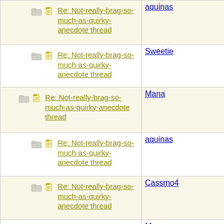| Thread | Author |
| --- | --- |
| Re: Not-really-brag-so-much-as-quirky-anecdote thread | aquinas |
| Re: Not-really-brag-so-much-as-quirky-anecdote thread | Sweetie |
| Re: Not-really-brag-so-much-as-quirky-anecdote thread | Mana |
| Re: Not-really-brag-so-much-as-quirky-anecdote thread | aquinas |
| Re: Not-really-brag-so-much-as-quirky-anecdote thread | Cassmo4 |
| Re: Not-really-brag-so-much-as-quirky-anecdote thread | Mana |
| Re: Not-really-brag-so-much-as-quirky-anecdote thread | Madoosa |